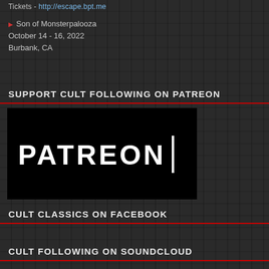Tickets - http://escape.bpt.me
Son of Monsterpalooza
October 14 - 16, 2022
Burbank, CA
SUPPORT CULT FOLLOWING ON PATREON
[Figure (logo): Patreon logo – white text 'PATREON' with a vertical bar on right, on black background]
CULT CLASSICS ON FACEBOOK
CULT FOLLOWING ON SOUNDCLOUD